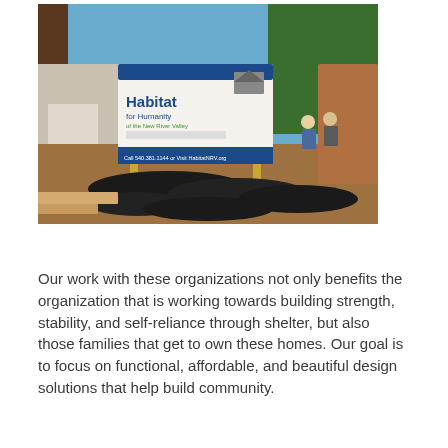[Figure (photo): Photo of a Habitat for Humanity construction site showing a sign reading 'Habitat for Humanity of the New River Valley, Call 540.381.1144 or Visit HabitatNRV.org', with building materials including black drainage pipes in the foreground and workers in the background under a clear blue sky.]
Our work with these organizations not only benefits the organization that is working towards building strength, stability, and self-reliance through shelter, but also those families that get to own these homes. Our goal is to focus on functional, affordable, and beautiful design solutions that help build community.